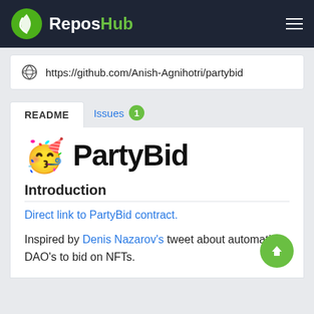ReposHub
https://github.com/Anish-Agnihotri/partybid
README
Issues 1
🥳 PartyBid
Introduction
Direct link to PartyBid contract.
Inspired by Denis Nazarov's tweet about automatic DAO's to bid on NFTs.